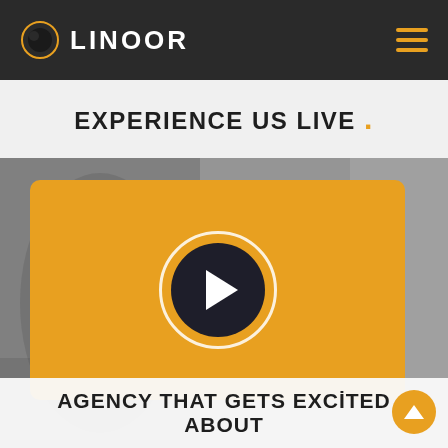LINOOR
EXPERIENCE US LIVE .
[Figure (screenshot): A grayscale background photo with an orange rounded rectangle overlay containing a play button (dark circle with white triangle), and a scroll-to-top button at the bottom right]
AGENCY THAT GETS EXCITED ABOUT